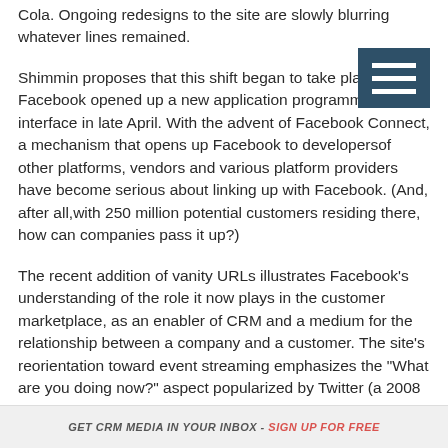Cola. Ongoing redesigns to the site are slowly blurring whatever lines remained.
Shimmin proposes that this shift began to take place when Facebook opened up a new application programming interface in late April. With the advent of Facebook Connect, a mechanism that opens up Facebook to developersof other platforms, vendors and various platform providers have become serious about linking up with Facebook. (And, after all,with 250 million potential customers residing there, how can companies pass it up?)
The recent addition of vanity URLs illustrates Facebook's understanding of the role it now plays in the customer  marketplace, as an enabler of CRM and a medium for the relationship between a company and a customer. The site's reorientation toward event streaming emphasizes the "What are you doing now?" aspect popularized by Twitter (a 2008 Rising Star). Other evidence that Facebook has "made it"? Its fastest
GET CRM MEDIA IN YOUR INBOX - SIGN UP FOR FREE